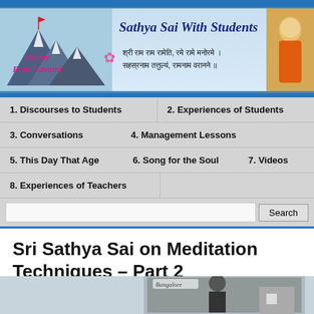[Figure (illustration): Website header banner for 'Sathya Sai With Students' with Happy Ram Navami greeting, Sanskrit verse, decorative mountains, and photo of Sathya Sai Baba]
Sathya Sai With Students
1. Discourses to Students
2. Experiences of Students
3. Conversations
4. Management Lessons
5. This Day That Age
6. Song for the Soul
7. Videos
8. Experiences of Teachers
Sri Sathya Sai on Meditation Techniques – Part 2
[Figure (photo): Partial image at bottom of page showing Bangalore scene with figure, partially visible]